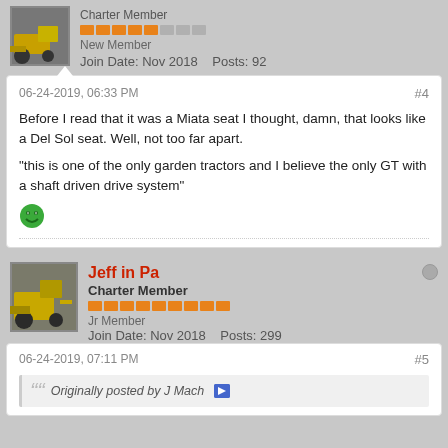Charter Member
New Member
Join Date: Nov 2018    Posts: 92
06-24-2019, 06:33 PM
#4

Before I read that it was a Miata seat I thought, damn, that looks like a Del Sol seat. Well, not too far apart.

"this is one of the only garden tractors and I believe the only GT with a shaft driven drive system"
Jeff in Pa
Charter Member
Jr Member
Join Date: Nov 2018    Posts: 299
06-24-2019, 07:11 PM
#5
Originally posted by J Mach